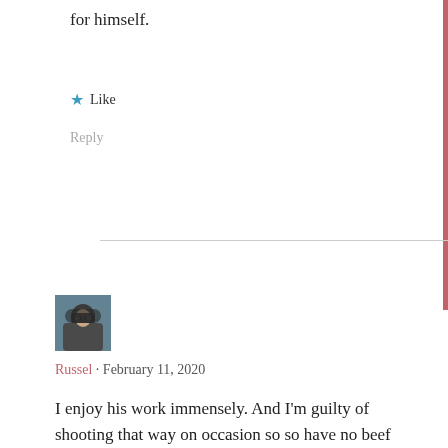for himself.
★ Like
Reply
[Figure (photo): Avatar photo of commenter Russel wearing sunglasses and a hoodie]
Russel · February 11, 2020
I enjoy his work immensely. And I'm guilty of shooting that way on occasion so so have no beef with the man. Extraordinary to see the